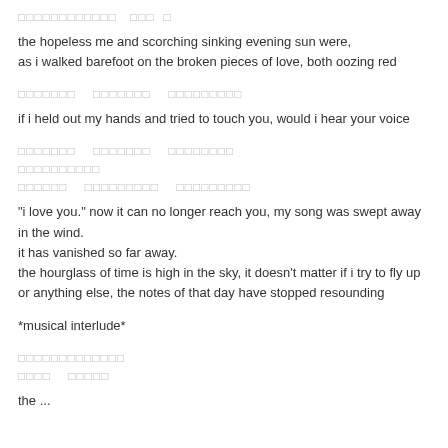[script text line - partial, top]
the hopeless me and scorching sinking evening sun were,
as i walked barefoot on the broken pieces of love, both oozing red
[script text line]
if i held out my hands and tried to touch you, would i hear your voice
[script text lines]
"i love you." now it can no longer reach you, my song was swept away in the wind.
it has vanished so far away.
the hourglass of time is high in the sky, it doesn't matter if i try to fly up or anything else, the notes of that day have stopped resounding
*musical interlude*
[script text lines]
the ... that i ... (truncated at bottom)